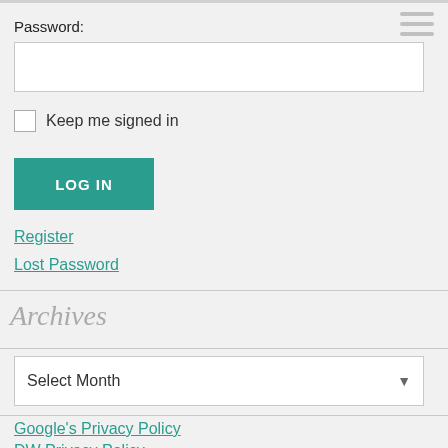Password:
[Figure (screenshot): Empty password input field]
Keep me signed in
LOG IN
Register
Lost Password
Archives
Select Month
Google's Privacy Policy
DW Privacy Policy